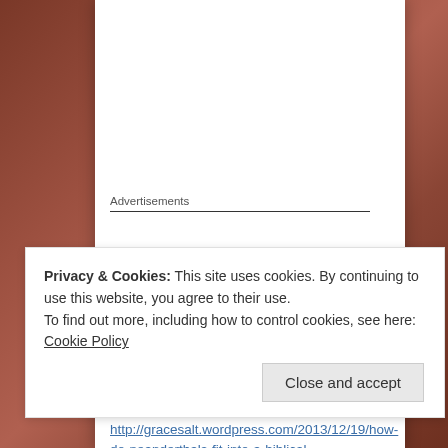Advertisements
Ashley Haworth-roberts
December 19, 2013 at 10:57 pm
Lord Above:
http://gracesalt.wordpress.com/2013/12/19/how-do-neanderthals-fit-into-a-biblical-worldview/#comment-376
Privacy & Cookies: This site uses cookies. By continuing to use this website, you agree to their use.
To find out more, including how to control cookies, see here: Cookie Policy
Close and accept